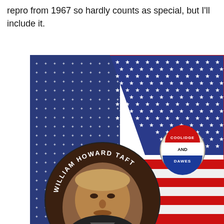repro from 1967 so hardly counts as special, but I'll include it.
[Figure (photo): Photograph showing political campaign memorabilia on a patriotic American flag background: a large round brown button with a portrait of William Howard Taft and his name around the edge, and a smaller round button reading 'COOLIDGE AND DAWES' in red, white, and blue. Two flag-patterned fabrics are visible — one with white stars on navy blue, and one standard American flag with red and white stripes and a star field.]